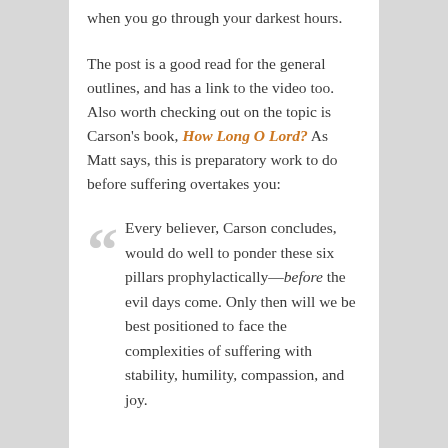when you go through your darkest hours.
The post is a good read for the general outlines, and has a link to the video too. Also worth checking out on the topic is Carson's book, How Long O Lord? As Matt says, this is preparatory work to do before suffering overtakes you:
Every believer, Carson concludes, would do well to ponder these six pillars prophylactically—before the evil days come. Only then will we be best positioned to face the complexities of suffering with stability, humility, compassion, and joy.